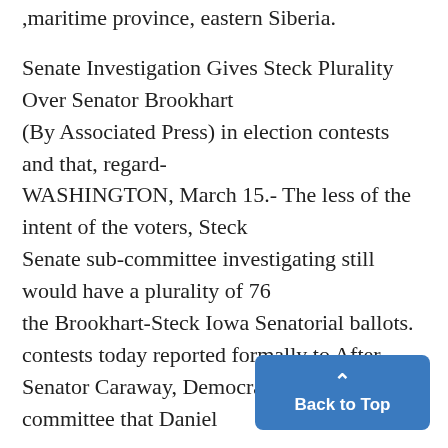,maritime province, eastern Siberia.
Senate Investigation Gives Steck Plurality Over Senator Brookhart
(By Associated Press) in election contests and that, regard- WASHINGTON, March 15.- The less of the intent of the voters, Steck Senate sub-committee investigating still would have a plurality of 76 the Brookhart-Steck Iowa Senatorial ballots. contests today reported formally to After Senator Caraway, Democrat, I the full committee that Daniel